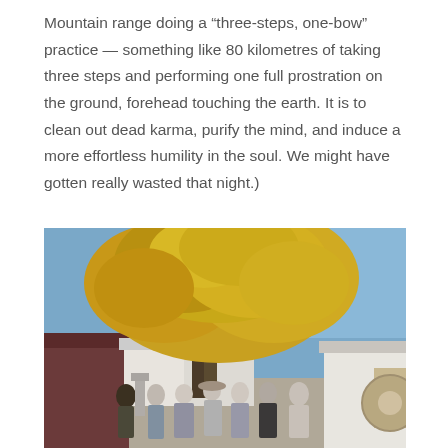Mountain range doing a “three-steps, one-bow” practice — something like 80 kilometres of taking three steps and performing one full prostration on the ground, forehead touching the earth. It is to clean out dead karma, purify the mind, and induce a more effortless humility in the soul. We might have gotten really wasted that night.)
[Figure (photo): Outdoor photograph showing a large tree with golden/yellow autumn leaves against a blue sky, with traditional Korean-style buildings in the background. A group of several people, including monks in grey robes and other individuals, are standing together in front of the tree.]